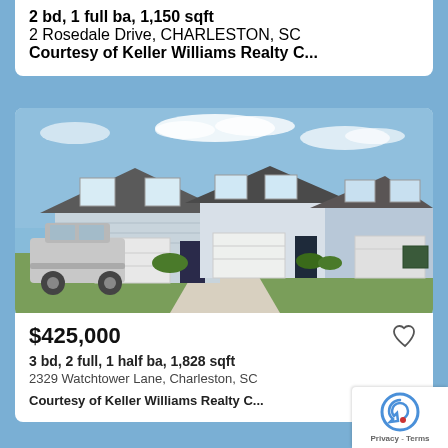2 bd, 1 full ba, 1,150 sqft
2 Rosedale Drive, CHARLESTON, SC
Courtesy of Keller Williams Realty C...
[Figure (photo): Exterior photo of modern townhomes with white/gray siding, attached garages, concrete driveways, and a silver SUV parked on the left. Blue sky with clouds visible.]
$425,000
3 bd, 2 full, 1 half ba, 1,828 sqft
2329 Watchtower Lane, Charleston, SC
Courtesy of Keller Williams Realty C...